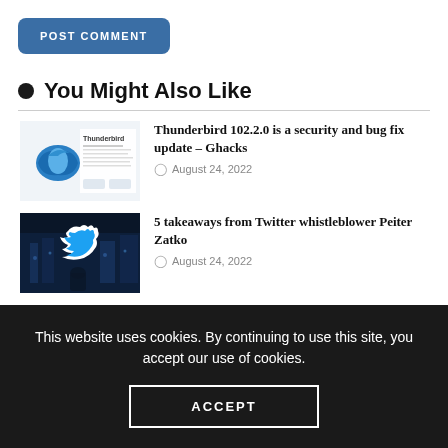POST COMMENT
You Might Also Like
[Figure (screenshot): Thumbnail image of Thunderbird article showing Thunderbird logo and text]
Thunderbird 102.2.0 is a security and bug fix update – Ghacks
August 24, 2022
[Figure (photo): Thumbnail image showing Twitter bird logo on dark blue background with building lights]
5 takeaways from Twitter whistleblower Peiter Zatko
August 24, 2022
This website uses cookies. By continuing to use this site, you accept our use of cookies.
ACCEPT